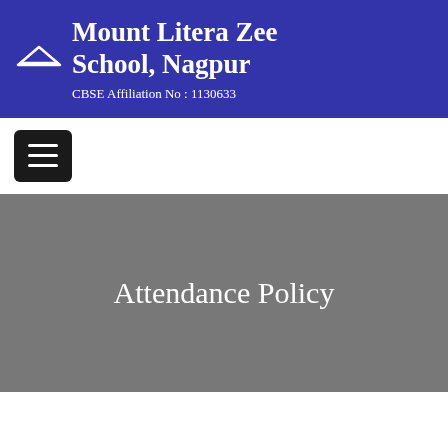Mount Litera Zee School, Nagpur
CBSE Affiliation No : 1130633
[Figure (logo): School logo mark — a small white bird/wing silhouette on dark blue background]
Attendance Policy